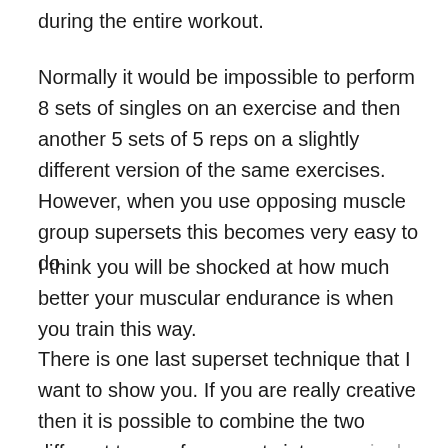during the entire workout.
Normally it would be impossible to perform 8 sets of singles on an exercise and then another 5 sets of 5 reps on a slightly different version of the same exercises. However, when you use opposing muscle group supersets this becomes very easy to do.
I think you will be shocked at how much better your muscular endurance is when you train this way.
There is one last superset technique that I want to show you. If you are really creative then it is possible to combine the two different types of supersets into one single training method.